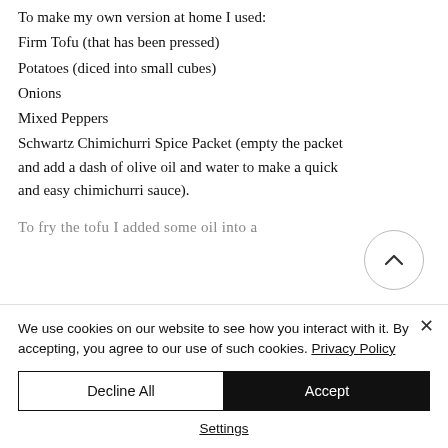To make my own version at home I used:
Firm Tofu (that has been pressed)
Potatoes (diced into small cubes)
Onions
Mixed Peppers
Schwartz Chimichurri Spice Packet (empty the packet and add a dash of olive oil and water to make a quick and easy chimichurri sauce).
To fry the tofu I added some oil into a...
We use cookies on our website to see how you interact with it. By accepting, you agree to our use of such cookies. Privacy Policy
Decline All
Accept
Settings